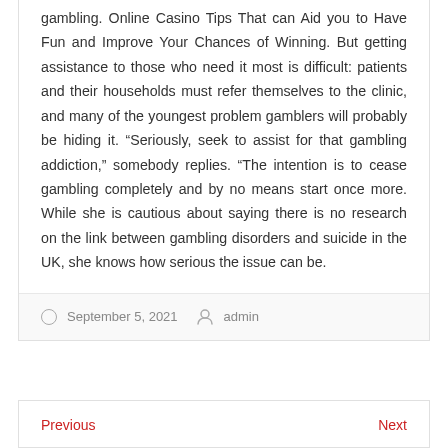gambling. Online Casino Tips That can Aid you to Have Fun and Improve Your Chances of Winning. But getting assistance to those who need it most is difficult: patients and their households must refer themselves to the clinic, and many of the youngest problem gamblers will probably be hiding it. “Seriously, seek to assist for that gambling addiction,” somebody replies. “The intention is to cease gambling completely and by no means start once more. While she is cautious about saying there is no research on the link between gambling disorders and suicide in the UK, she knows how serious the issue can be.
September 5, 2021  admin
Previous   Next